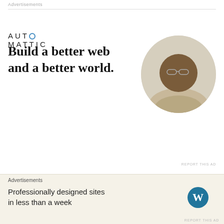Advertisements
[Figure (logo): Automattic logo in uppercase letters with a circle around the letter O]
Build a better web and a better world.
[Figure (photo): A man wearing glasses and a beige shirt, seated and looking upward thoughtfully, shown in circular crop]
Apply
REPORT THIS AD
Share this:
Twitter  Facebook  Reddit  Tumblr
Advertisements
Professionally designed sites in less than a week
[Figure (logo): WordPress logo - W in a circle]
REPORT THIS AD